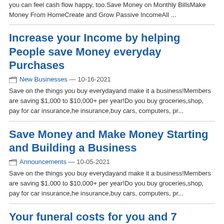you can feel cash flow happy, too.Save Money on Monthly BillsMake Money From HomeCreate and Grow Passive IncomeAll ...
Increase your Income by helping People save Money everyday Purchases
New Businesses — 10-16-2021
Save on the things you buy everydayand make it a business!Members are saving $1,000 to $10,000+ per year!Do you buy groceries,shop, pay for car insurance,he insurance,buy cars, computers, pr...
Save Money and Make Money Starting and Building a Business
Announcements — 10-05-2021
Save on the things you buy everydayand make it a business!Members are saving $1,000 to $10,000+ per year!Do you buy groceries,shop, pay for car insurance,he insurance,buy cars, computers, pr...
Your funeral costs for you and 7 people are covered!!
General — 09-09-2021
Your funeral costs for you and 7 people are covered!! FUNERALS AT NO COST! UP TO 7 FAMILY MEMBERS!AGENTS ARE NEEDED!UNLIMITED INCOME POTENTIALThis is one of the most unique business building, i...